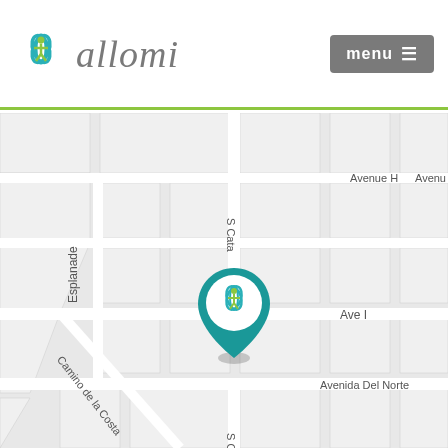[Figure (logo): Allomi logo with teal and green lotus/person icon and cursive 'allomi' text]
[Figure (screenshot): Google Maps style street map showing location pin with Allomi logo in Redondo Beach area, showing streets: Avenue H, S Catalina, Esplanade, Ave I, Camino de la Costa, S Catalina, Avenida Del Norte]